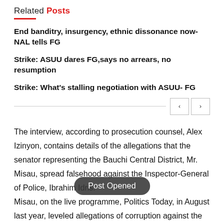Related Posts
End banditry, insurgency, ethnic dissonance now- NAL tells FG
Strike: ASUU dares FG,says no arrears, no resumption
Strike: What's stalling negotiation with ASUU- FG
The interview, according to prosecution counsel, Alex Izinyon, contains details of the allegations that the senator representing the Bauchi Central District, Mr. Misau, spread falsehood against the Inspector-General of Police, Ibrahim Idris.
Misau, on the live programme, Politics Today, in August last year, leveled allegations of corruption against the